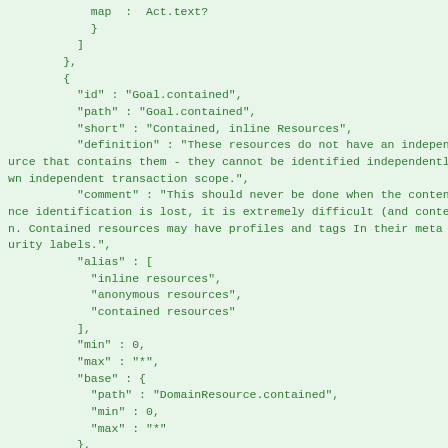JSON code snippet showing FHIR Goal.contained element definition with fields: map, id, path, short, definition, comment, alias, min, max, base, type